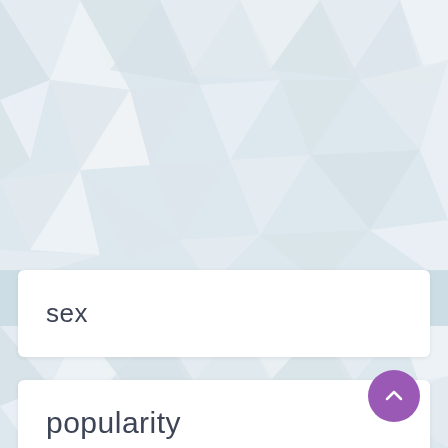[Figure (screenshot): App UI screenshot showing geometric low-poly background pattern in light grey/white tones in the upper portion]
sex
[Figure (screenshot): App UI screenshot showing geometric low-poly background pattern in light grey/white tones in the lower portion]
popularity